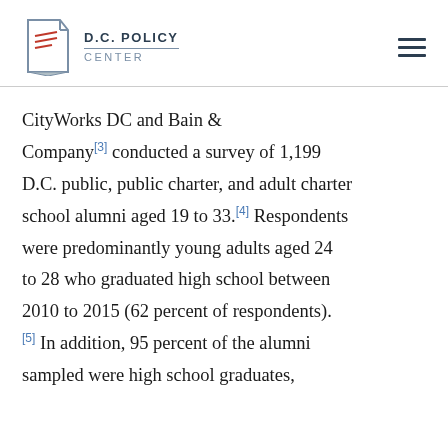D.C. POLICY CENTER
CityWorks DC and Bain & Company[3] conducted a survey of 1,199 D.C. public, public charter, and adult charter school alumni aged 19 to 33.[4] Respondents were predominantly young adults aged 24 to 28 who graduated high school between 2010 to 2015 (62 percent of respondents). [5] In addition, 95 percent of the alumni sampled were high school graduates,